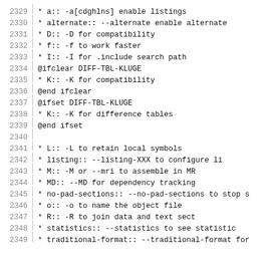2329   * a::             -a[cdghlns] enable listings
2330   * alternate::     --alternate enable alternate
2331   * D::             -D for compatibility
2332   * f::             -f to work faster
2333   * I::             -I for .include search path
2334   @ifclear DIFF-TBL-KLUGE
2335   * K::             -K for compatibility
2336   @end ifclear
2337   @ifset DIFF-TBL-KLUGE
2338   * K::             -K for difference tables
2339   @end ifset
2340
2341   * L::             -L to retain local symbols
2342   * listing::       --listing-XXX to configure li
2343   * M::             -M or --mri to assemble in MR
2344   * MD::            --MD for dependency tracking
2345   * no-pad-sections:: --no-pad-sections to stop s
2346   * o::             -o to name the object file
2347   * R::             -R to join data and text sect
2348   * statistics::   --statistics to see statistic
2349   * traditional-format:: --traditional-format for